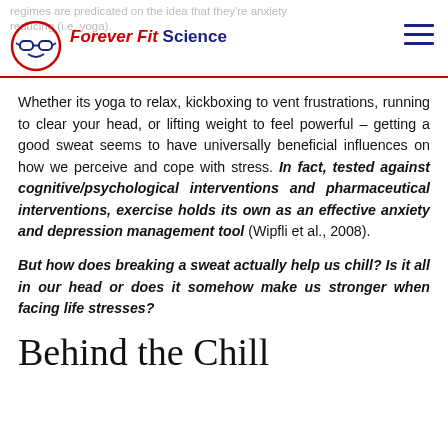Forever Fit Science
Whether its yoga to relax, kickboxing to vent frustrations, running to clear your head, or lifting weight to feel powerful – getting a good sweat seems to have universally beneficial influences on how we perceive and cope with stress. In fact, tested against cognitive/psychological interventions and pharmaceutical interventions, exercise holds its own as an effective anxiety and depression management tool (Wipfli et al., 2008).
But how does breaking a sweat actually help us chill? Is it all in our head or does it somehow make us stronger when facing life stresses?
Behind the Chill